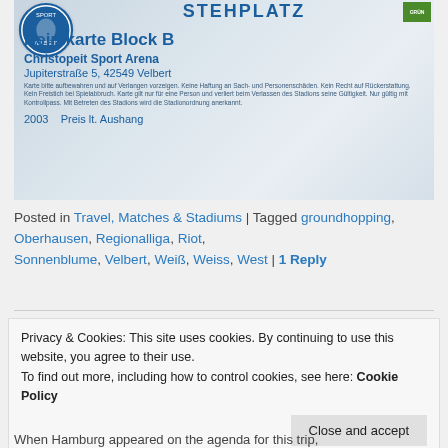[Figure (photo): A ticket for Heimkarte Block B at Christopeit Sport Arena, Jupiterstraße 5, 42549 Velbert. Shows 'STEHPLATZ' at top with a sports club logo, blue text content including venue name, address, fine print about ticket conditions, year 2003 and price info 'Preis lt. Aushang'. Green badge in top right corner.]
Posted in Travel, Matches & Stadiums | Tagged groundhopping, Oberhausen, Regionalliga, Riot, Sonnenblume, Velbert, Weiß, Weiss, West | 1 Reply
Privacy & Cookies: This site uses cookies. By continuing to use this website, you agree to their use.
To find out more, including how to control cookies, see here: Cookie Policy
When Hamburg appeared on the agenda for this trip,